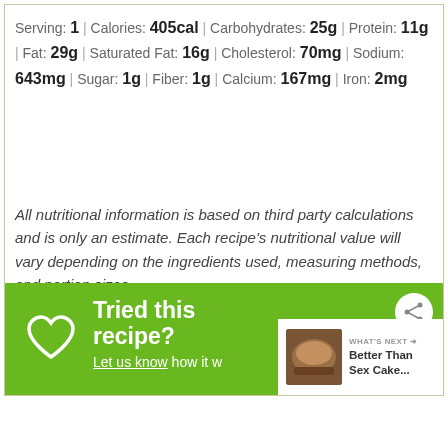Serving: 1 | Calories: 405cal | Carbohydrates: 25g | Protein: 11g | Fat: 29g | Saturated Fat: 16g | Cholesterol: 70mg | Sodium: 643mg | Sugar: 1g | Fiber: 1g | Calcium: 167mg | Iron: 2mg
All nutritional information is based on third party calculations and is only an estimate. Each recipe's nutritional value will vary depending on the ingredients used, measuring methods, and portion sizes.
[Figure (other): Green call-to-action banner with heart icon, text 'Tried this recipe? Let us know how it w[ent]', share icon, and 'What's Next' panel showing Better Than Sex Cake thumbnail]